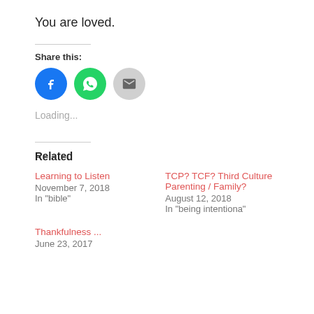You are loved.
Share this:
[Figure (infographic): Three circular social share buttons: Facebook (blue), WhatsApp (green), Email (grey)]
Loading...
Related
Learning to Listen
November 7, 2018
In "bible"
TCP? TCF? Third Culture Parenting / Family?
August 12, 2018
In "being intentiona"
Thankfulness ...
June 23, 2017